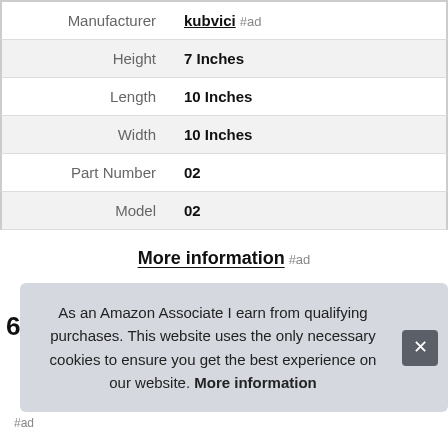| Attribute | Value |
| --- | --- |
| Manufacturer | kubvici #ad |
| Height | 7 Inches |
| Length | 10 Inches |
| Width | 10 Inches |
| Part Number | 02 |
| Model | 02 |
More information #ad
6.
As an Amazon Associate I earn from qualifying purchases. This website uses the only necessary cookies to ensure you get the best experience on our website. More information
#ad